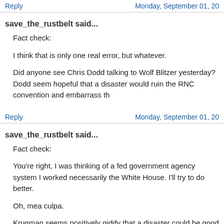Reply | Monday, September 01, 20...
save_the_rustbelt said...
Fact check:
I think that is only one real error, but whatever.
Did anyone see Chris Dodd talking to Wolf Blitzer yesterday? Dodd seem hopeful that a disaster would ruin the RNC convention and embarrass th
Reply | Monday, September 01, 20...
save_the_rustbelt said...
Fact check:
You're right, I was thinking of a fed government agency system I worked necessarily the White House. I'll try to do better.
Oh, mea culpa.
Krugman seems positively giddy that a disaster could be good for the De